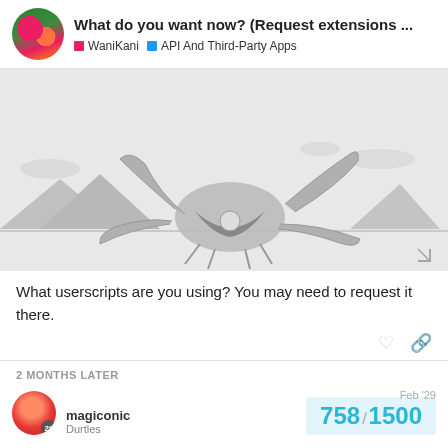What do you want now? (Request extensions ... | WaniKani | API And Third-Party Apps
[Figure (screenshot): WaniKani review screenshot showing kanji cards: 二 (に, Two), 日 (にち, Sun), 酔 (ずい, Drunk) on dark/pink background, below is a crab illustration in grayscale]
What userscripts are you using? You may need to request it there.
2 MONTHS LATER
magiconic
Durtles
758 / 1500